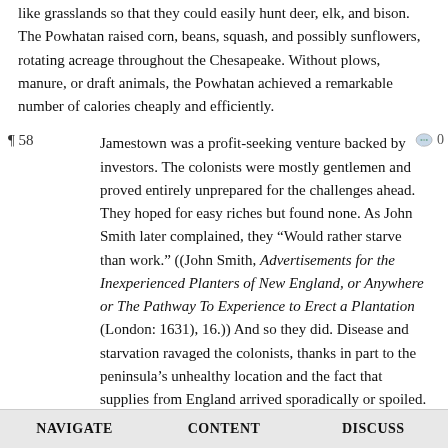like grasslands so that they could easily hunt deer, elk, and bison. The Powhatan raised corn, beans, squash, and possibly sunflowers, rotating acreage throughout the Chesapeake. Without plows, manure, or draft animals, the Powhatan achieved a remarkable number of calories cheaply and efficiently.
¶58 Jamestown was a profit-seeking venture backed by investors. The colonists were mostly gentlemen and proved entirely unprepared for the challenges ahead. They hoped for easy riches but found none. As John Smith later complained, they “Would rather starve than work.” ((John Smith, Advertisements for the Inexperienced Planters of New England, or Anywhere or The Pathway To Experience to Erect a Plantation (London: 1631), 16.)) And so they did. Disease and starvation ravaged the colonists, thanks in part to the peninsula’s unhealthy location and the fact that supplies from England arrived sporadically or spoiled. Fewer than half of the original colonists survived the first nine months.
¶59 John Smith, a yeoman’s son and capable leader, took command of the crippled colony and promised, “He that will not work shall not eat.” He navigated Indian diplomacy, claiming that he was captured and sentenced to death but Powhatan’s daughter
NAVIGATE   CONTENT   DISCUSS